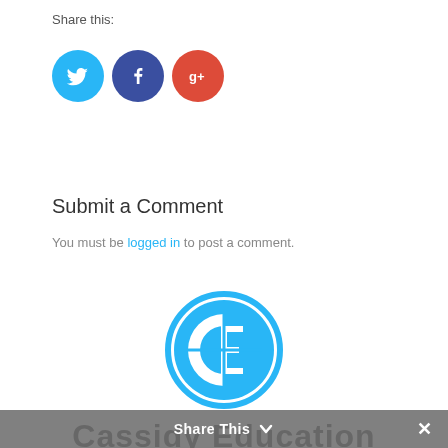Share this:
[Figure (illustration): Three social media sharing icons: Twitter (blue circle with bird icon), Facebook (dark blue circle with 'f' icon), Google+ (red circle with 'g+' icon)]
Submit a Comment
You must be logged in to post a comment.
[Figure (logo): Cassidy Education logo — circular blue CE monogram]
Cassidy Education
Share This ∨  ✕